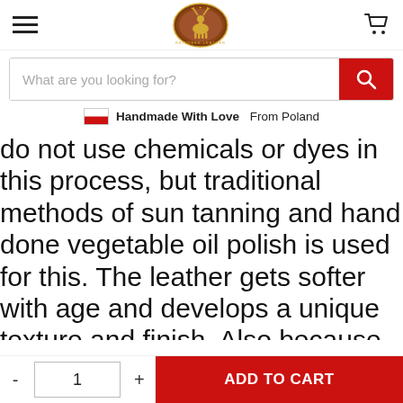[Figure (logo): Reindeer Leather brand logo — circular emblem with a reindeer silhouette, brown and gold tones]
What are you looking for?
🇵🇱 Handmade With Love From Poland
do not use chemicals or dyes in this process, but traditional methods of sun tanning and hand done vegetable oil polish is used for this. The leather gets softer with age and develops a unique texture and finish. Also because of the natural tanning processes the leather bag gets that distinctive smell that fades away with
- 1 + ADD TO CART